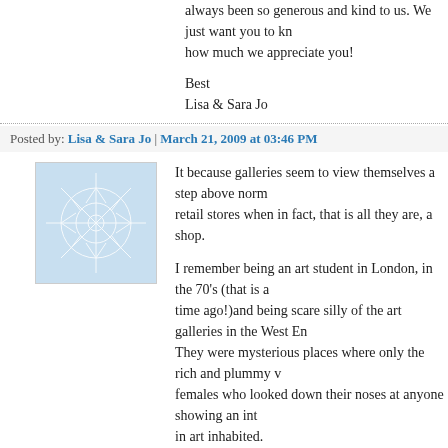always been so generous and kind to us. We just want you to know how much we appreciate you!
Best
Lisa & Sara Jo
Posted by: Lisa & Sara Jo | March 21, 2009 at 03:46 PM
[Figure (illustration): Square avatar image with blue geometric snowflake/crystal pattern on white background]
It because galleries seem to view themselves a step above normal retail stores when in fact, that is all they are, a shop.

I remember being an art student in London, in the 70's (that is a long time ago!)and being scare silly of the art galleries in the West End. They were mysterious places where only the rich and plummy voiced females who looked down their noses at anyone showing an interest in art inhabited.

Being older(but none the wiser)on a visit to London year or so back I revisited the area. It was no different, same people and same look of doors.
Posted by: jacqui | March 24, 2009 at 10:20 PM
The comments to this entry are closed.